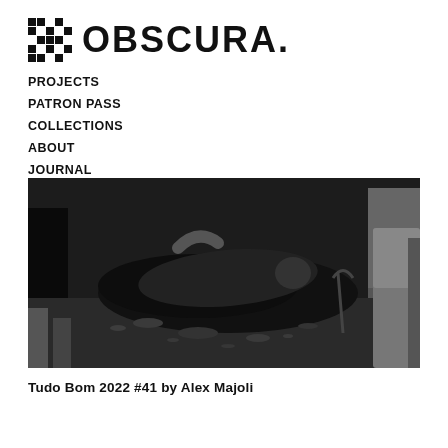[Figure (logo): Obscura logo with pixelated X graphic and bold OBSCURA. text]
PROJECTS
PATRON PASS
COLLECTIONS
ABOUT
JOURNAL
[Figure (photo): Black and white photograph showing a person lying in a black garbage bag on the ground surrounded by debris, with people standing around them]
Tudo Bom 2022 #41 by Alex Majoli